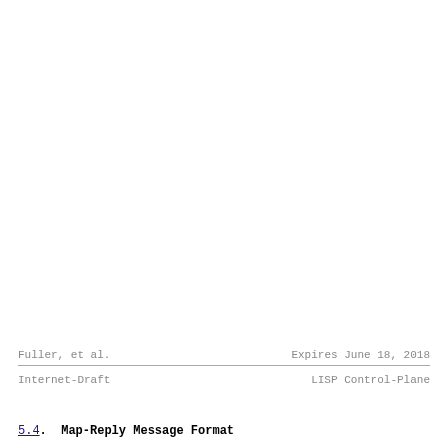Fuller, et al.                    Expires June 18, 2018
Internet-Draft                    LISP Control-Plane
5.4.  Map-Reply Message Format